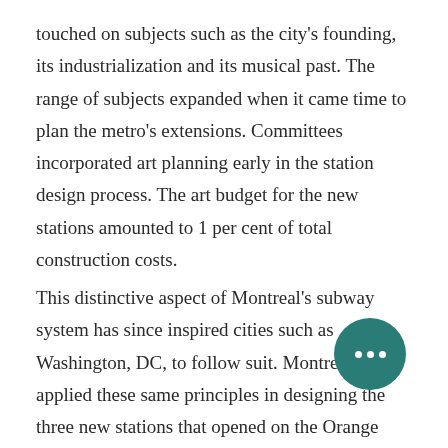touched on subjects such as the city's founding, its industrialization and its musical past. The range of subjects expanded when it came time to plan the metro's extensions. Committees incorporated art planning early in the station design process. The art budget for the new stations amounted to 1 per cent of total construction costs.
This distinctive aspect of Montreal's subway system has since inspired cities such as Washington, DC, to follow suit. Montreal applied these same principles in designing the three new stations that opened on the Orange Line in 2007.